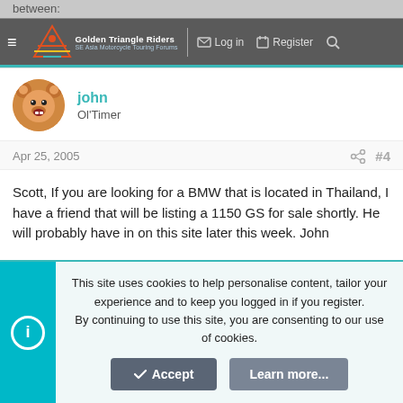Golden Triangle Riders — SE Asia Motorcycle Touring Forums | Log in | Register
john
Ol'Timer
Apr 25, 2005  #4
Scott, If you are looking for a BMW that is located in Thailand, I have a friend that will be listing a 1150 GS for sale shortly. He will probably have in on this site later this week. John
You must log in or register to reply here.
This site uses cookies to help personalise content, tailor your experience and to keep you logged in if you register.
By continuing to use this site, you are consenting to our use of cookies.
Accept
Learn more...